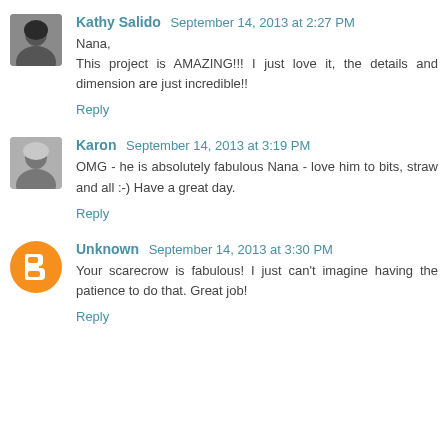Kathy Salido  September 14, 2013 at 2:27 PM
Nana,
This project is AMAZING!!! I just love it, the details and dimension are just incredible!!
Reply
Karon  September 14, 2013 at 3:19 PM
OMG - he is absolutely fabulous Nana - love him to bits, straw and all :-) Have a great day.
Reply
Unknown  September 14, 2013 at 3:30 PM
Your scarecrow is fabulous! I just can't imagine having the patience to do that. Great job!
Reply